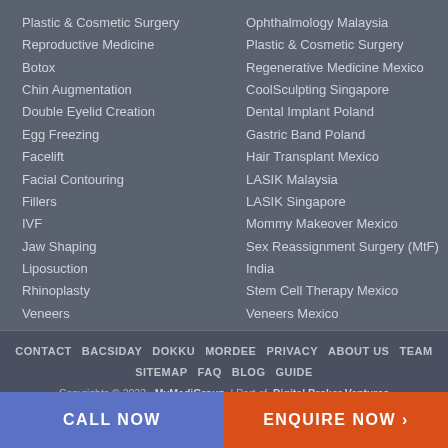Plastic & Cosmetic Surgery
Reproductive Medicine
Botox
Chin Augmentation
Double Eyelid Creation
Egg Freezing
Facelift
Facial Contouring
Fillers
IVF
Jaw Shaping
Liposuction
Rhinoplasty
Veneers
Ophthalmology Malaysia
Plastic & Cosmetic Surgery
Regenerative Medicine Mexico
CoolSculpting Singapore
Dental Implant Poland
Gastric Band Poland
Hair Transplant Mexico
LASIK Malaysia
LASIK Singapore
Mommy Makeover Mexico
Sex Reassignment Surgery (MtF) India
Stem Cell Therapy Mexico
Veneers Mexico
Veneers Philippines
CONTACT BACSIDAY DOKKU MORDEE PRIVACY ABOUT US TEAM SITEMAP FAQ BLOG GUIDE
Copyrights © 2022, MyMediGroup | Part of Digital Broker Ventures
CALL NOW
ENQUIRE NOW >